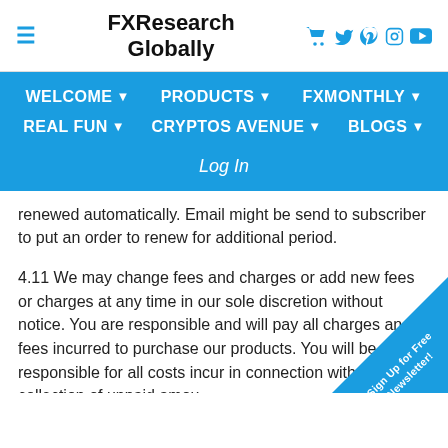FXResearch Globally
WELCOME  PRODUCTS  FXMONTHLY  REAL FUN  CRYPTOS AVENUE  BLOGS
Log In
renewed automatically. Email might be send to subscriber to put an order to renew for additional period.
4.11 We may change fees and charges or add new fees or charges at any time in our sole discretion without notice. You are responsible and will pay all charges and fees incurred to purchase our products. You will be responsible for all costs incur in connection with the collection of unpaid amou